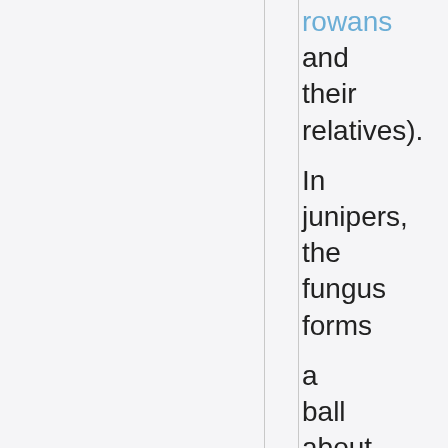rowans and their relatives). In junipers, the fungus forms a ball about 2-4 cm